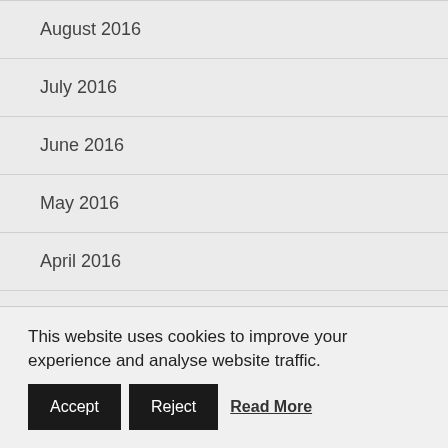August 2016
July 2016
June 2016
May 2016
April 2016
March 2016
February 2016
January 2016
December 2015
This website uses cookies to improve your experience and analyse website traffic. Accept Reject Read More